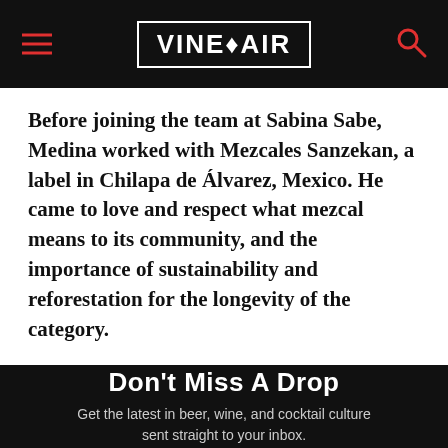VINEPAIR
Before joining the team at Sabina Sabe, Medina worked with Mezcales Sanzekan, a label in Chilapa de Álvarez, Mexico. He came to love and respect what mezcal means to its community, and the importance of sustainability and reforestation for the longevity of the category.
Don't Miss A Drop
Get the latest in beer, wine, and cocktail culture sent straight to your inbox.